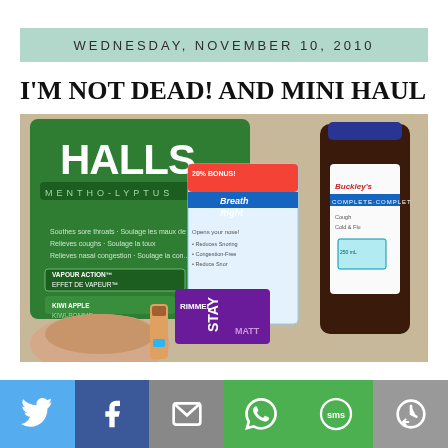WEDNESDAY, NOVEMBER 10, 2010
I'M NOT DEAD! AND MINI HAUL
[Figure (photo): A collection of cold/flu remedy products including Halls Menthol candies (kiwi apple flavor, vapour action), Breathe Right nasal strips (20% bonus), Buckley's Complete cough syrup, and a Rimmel Stay Matte product, all laid out together on a surface.]
[Figure (infographic): Social sharing bar with Twitter, Facebook, Email, WhatsApp, SMS, and share icons on colored backgrounds (blue, dark blue, grey, green, green, grey).]